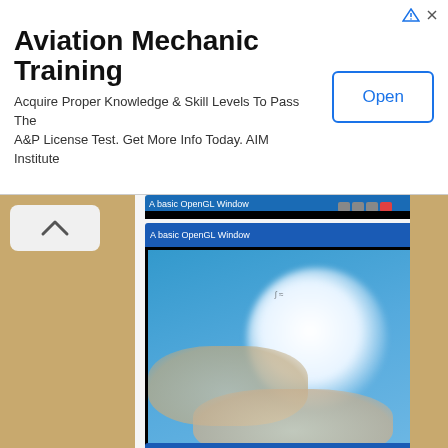[Figure (screenshot): Advertisement banner: Aviation Mechanic Training — Acquire Proper Knowledge & Skill Levels To Pass The A&P License Test. Get More Info Today. AIM Institute. With an Open button.]
[Figure (screenshot): OpenGL window screenshot showing sky scene with bright sun and clouds, frame counter showing 85 in yellow-green.]
[Figure (screenshot): OpenGL window screenshot showing sky scene with bright sun at left and clouds on right, frame counter showing 85 in yellow-green.]